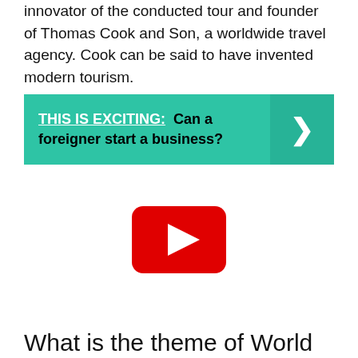innovator of the conducted tour and founder of Thomas Cook and Son, a worldwide travel agency. Cook can be said to have invented modern tourism.
[Figure (infographic): Green banner with text 'THIS IS EXCITING: Can a foreigner start a business?' and a right-arrow button on the right side]
[Figure (other): YouTube play button icon (red rounded rectangle with white triangle)]
What is the theme of World